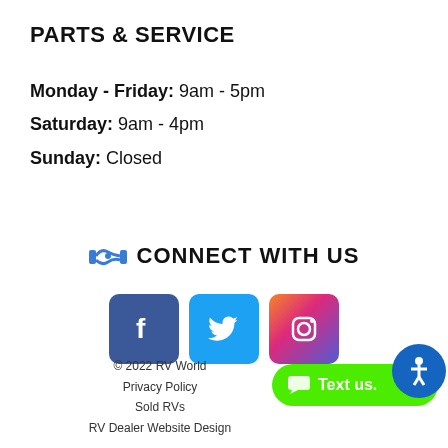PARTS & SERVICE
Monday - Friday: 9am - 5pm
Saturday: 9am - 4pm
Sunday: Closed
🤝 CONNECT WITH US
[Figure (logo): Social media icons: Facebook (blue square with f), Twitter (light blue square with bird), Instagram (gradient square with camera icon)]
© 2022 RV World
Privacy Policy
Sold RVs
RV Dealer Website Design